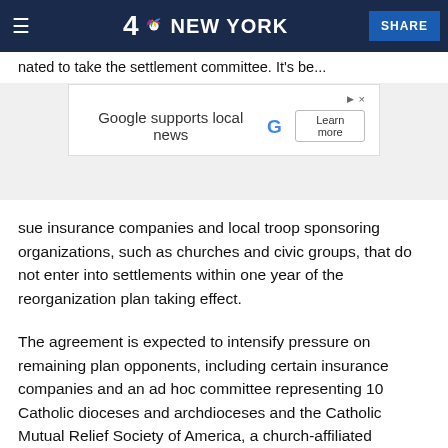4 NBC NEW YORK  SHARE
...designated to take the settlement committee. It's been...
[Figure (screenshot): Google supports local news advertisement banner with Google G logo and Learn more button]
sue insurance companies and local troop sponsoring organizations, such as churches and civic groups, that do not enter into settlements within one year of the reorganization plan taking effect.
The agreement is expected to intensify pressure on remaining plan opponents, including certain insurance companies and an ad hoc committee representing 10 Catholic dioceses and archdioceses and the Catholic Mutual Relief Society of America, a church-affiliated nonprofit that insures hundreds of dioceses, religious orders and institutions.